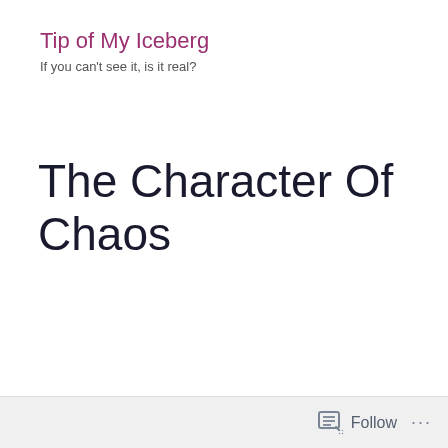Tip of My Iceberg
If you can't see it, is it real?
The Character Of Chaos
Follow ...